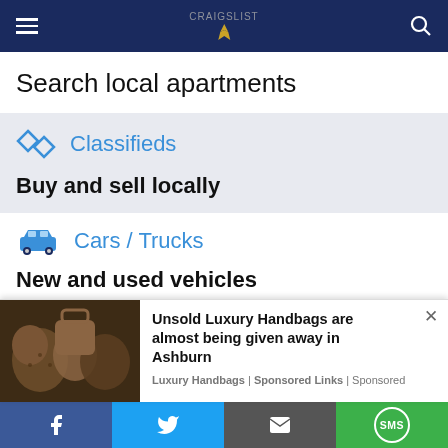Craigslist navigation bar
Search local apartments
Classifieds
Buy and sell locally
Cars / Trucks
New and used vehicles
Hotels
[Figure (screenshot): Advertisement for luxury handbags with image of handbags and text: Unsold Luxury Handbags are almost being given away in Ashburn. Luxury Handbags | Sponsored Links | Sponsored]
Facebook, Twitter, Email, SMS share buttons